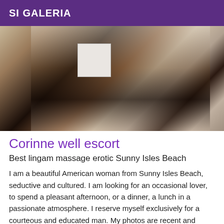SI GALERIA
[Figure (photo): A woman in black lingerie and stockings posed on a bed, face obscured by a white block. Room with wooden furniture and patterned pillow visible in background.]
Corinne well escort
Best lingam massage erotic Sunny Isles Beach
I am a beautiful American woman from Sunny Isles Beach, seductive and cultured. I am looking for an occasional lover, to spend a pleasant afternoon, or a dinner, a lunch in a passionate atmosphere. I reserve myself exclusively for a courteous and educated man. My photos are recent and unretouched. To meet each